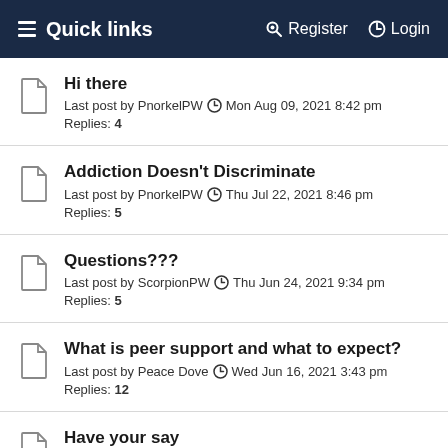Quick links  Register  Login
Hi there
Last post by PnorkelPW Mon Aug 09, 2021 8:42 pm
Replies: 4
Addiction Doesn't Discriminate
Last post by PnorkelPW Thu Jul 22, 2021 8:46 pm
Replies: 5
Questions???
Last post by ScorpionPW Thu Jun 24, 2021 9:34 pm
Replies: 5
What is peer support and what to expect?
Last post by Peace Dove Wed Jun 16, 2021 3:43 pm
Replies: 12
Have your say